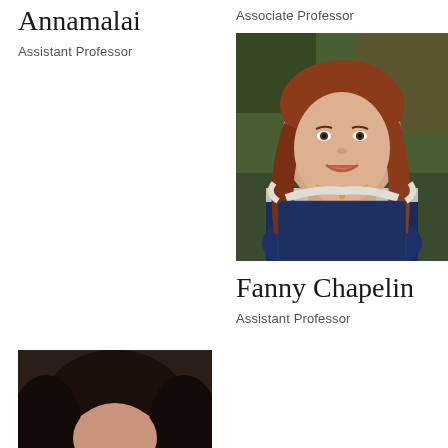Annamalai
Assistant Professor
Associate Professor
[Figure (photo): Professional headshot of Fanny Chapelin, a woman with reddish-brown wavy hair, wearing a navy blue top with white trim, smiling, in an outdoor setting.]
Fanny Chapelin
Assistant Professor
[Figure (photo): Partial headshot of a woman at the bottom left, dark background, only top of head visible.]